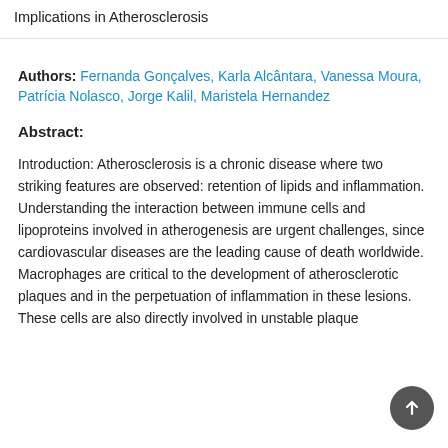Implications in Atherosclerosis
Authors: Fernanda Gonçalves, Karla Alcântara, Vanessa Moura, Patrícia Nolasco, Jorge Kalil, Maristela Hernandez
Abstract:
Introduction: Atherosclerosis is a chronic disease where two striking features are observed: retention of lipids and inflammation. Understanding the interaction between immune cells and lipoproteins involved in atherogenesis are urgent challenges, since cardiovascular diseases are the leading cause of death worldwide. Macrophages are critical to the development of atherosclerotic plaques and in the perpetuation of inflammation in these lesions. These cells are also directly involved in unstable plaque